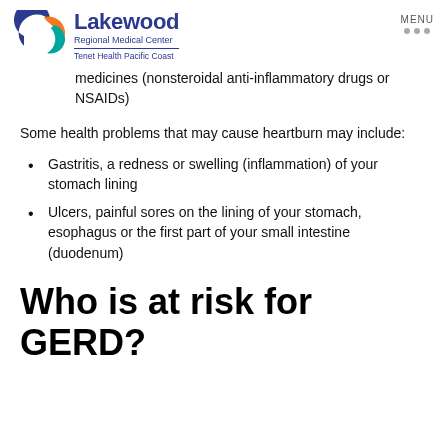Lakewood Regional Medical Center | Tenet Health Pacific Coast | MENU
medicines (nonsteroidal anti-inflammatory drugs or NSAIDs)
Some health problems that may cause heartburn may include:
Gastritis, a redness or swelling (inflammation) of your stomach lining
Ulcers, painful sores on the lining of your stomach, esophagus or the first part of your small intestine (duodenum)
Who is at risk for GERD?